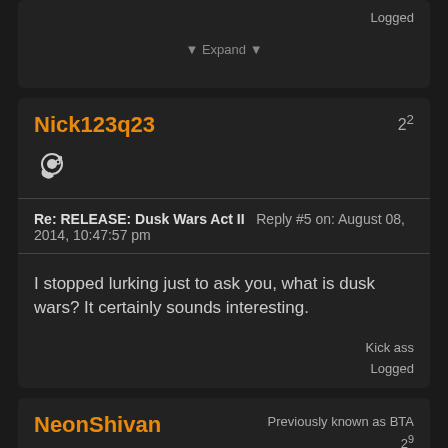Logged
▼ Expand ▼
Nick123q23
2^2
Re: RELEASE: Dusk Wars Act II   Reply #5 on: August 08, 2014, 10:47:57 pm
I stopped lurking just to ask you, what is dusk wars? It certainly sounds interesting.
Kick ass
Logged
NeonShivan
Previously known as BTA
2^9
By the Omnisiah's grace.